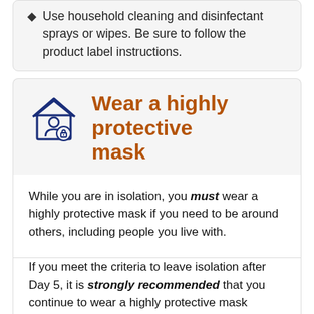Use household cleaning and disinfectant sprays or wipes. Be sure to follow the product label instructions.
Wear a highly protective mask
While you are in isolation, you must wear a highly protective mask if you need to be around others, including people you live with.
If you meet the criteria to leave isolation after Day 5, it is strongly recommended that you continue to wear a highly protective mask around others, especially through Day 10. Note: if you return to work after Day 5, you are required to wear a mask at the workplace for a total of 10 days after your